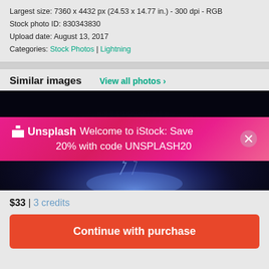Largest size: 7360 x 4432 px (24.53 x 14.77 in.) - 300 dpi - RGB
Stock photo ID: 830343830
Upload date: August 13, 2017
Categories: Stock Photos | Lightning
Similar images
View all photos >
[Figure (photo): Stock photo of lightning with Unsplash promotional banner overlay showing 'Welcome to iStock: Save 20% with code UNSPLASH20']
$33 | 3 credits
Continue with purchase